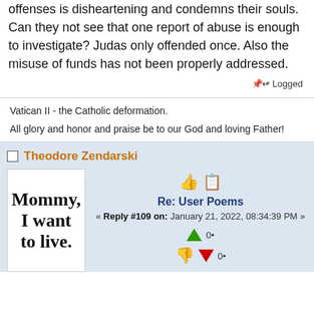offenses is disheartening and condemns their souls. Can they not see that one report of abuse is enough to investigate? Judas only offended once. Also the misuse of funds has not been properly addressed.
Logged
Vatican II - the Catholic deformation.
All glory and honor and praise be to our God and loving Father!
Theodore Zendarski
[Figure (illustration): Book cover image with text: Mommy, I want to live.]
Re: User Poems
« Reply #109 on: January 21, 2022, 08:34:39 PM »
0•
0•